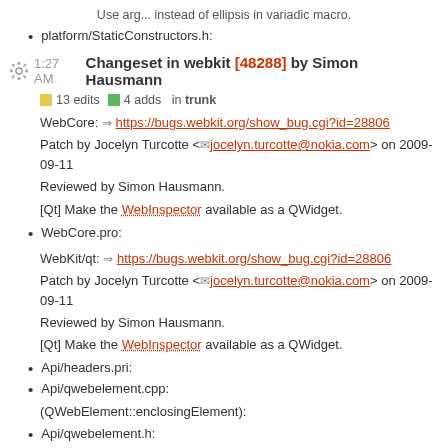Use arg... instead of ellipsis in variadic macro.
platform/StaticConstructors.h:
1:27 AM Changeset in webkit [48288] by Simon Hausmann
13 edits   4 adds   in trunk
WebCore: https://bugs.webkit.org/show_bug.cgi?id=28806
Patch by Jocelyn Turcotte <jocelyn.turcotte@nokia.com> on 2009-09-11
Reviewed by Simon Hausmann.
[Qt] Make the WebInspector available as a QWidget.
WebCore.pro:
WebKit/qt: https://bugs.webkit.org/show_bug.cgi?id=28806
Patch by Jocelyn Turcotte <jocelyn.turcotte@nokia.com> on 2009-09-11
Reviewed by Simon Hausmann.
[Qt] Make the WebInspector available as a QWidget.
Api/headers.pri:
Api/qwebelement.cpp:
(QWebElement::enclosingElement):
Api/qwebelement.h:
Api/qwebinspector.cpp: Added.
Api/qwebinspector.h: Added.
Api/qwebinspector_p.h: Added.
Api/qwebpage.cpp: